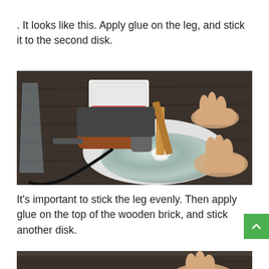. It looks like this. Apply glue on the leg, and stick it to the second disk.
[Figure (photo): Photo of hands applying a wooden stick leg to a CD disk on a dark wooden table. A hot glue gun with wooden handle is visible, along with a white box and cables in the background.]
It's important to stick the leg evenly. Then apply glue on the top of the wooden brick, and stick another disk.
[Figure (photo): Partial photo showing hands and tools on a dark table, beginning of next step demonstration.]